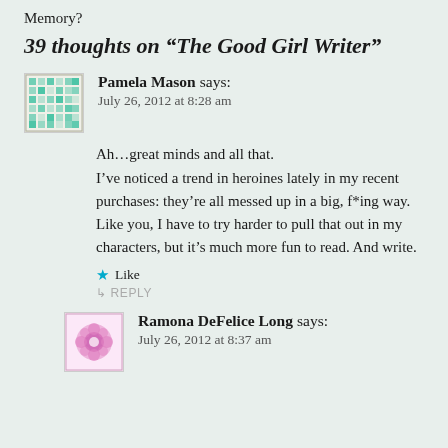Memory?
39 thoughts on “The Good Girl Writer”
Pamela Mason says:
July 26, 2012 at 8:28 am

Ah...great minds and all that.
I’ve noticed a trend in heroines lately in my recent purchases: they’re all messed up in a big, f*ing way. Like you, I have to try harder to pull that out in my characters, but it’s much more fun to read. And write.
★ Like
↳ REPLY
Ramona DeFelice Long says:
July 26, 2012 at 8:37 am